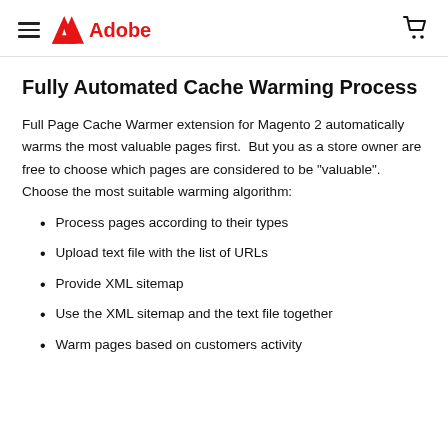Adobe
Fully Automated Cache Warming Process
Full Page Cache Warmer extension for Magento 2 automatically warms the most valuable pages first.  But you as a store owner are free to choose which pages are considered to be "valuable". Choose the most suitable warming algorithm:
Process pages according to their types
Upload text file with the list of URLs
Provide XML sitemap
Use the XML sitemap and the text file together
Warm pages based on customers activity